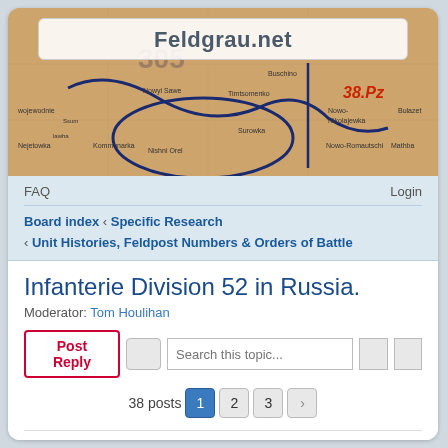[Figure (screenshot): Feldgrau.net website header with a military map background showing place names in Eastern Europe, with a rounded rectangle overlay displaying the site name.]
Feldgrau.net
FAQ    Login
Board index ‹ Specific Research
‹ Unit Histories, Feldpost Numbers & Orders of Battle
Infanterie Division 52 in Russia.
Moderator: Tom Houlihan
Post Reply   Search this topic...
38 posts  1  2  3
tigre
Patron